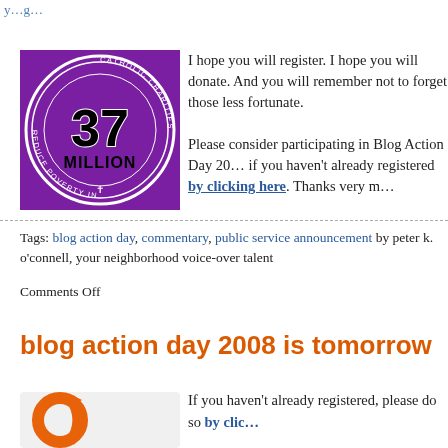y…g…
[Figure (logo): Catholic Charities USA's Campaign to Reduce Poverty in America - circular purple logo with '37 MILLION' in large text]
I hope you will register. I hope you will donate. And you will remember not to forget those less fortunate.
Please consider participating in Blog Action Day 2008 if you haven't already registered by clicking here. Thanks very m…
Tags: blog action day, commentary, public service announcement by peter k. o'connell, your neighborhood voice-over talent
Comments Off
blog action day 2008 is tomorrow
[Figure (logo): Blog Action Day logo with orange circular arrow graphic]
If you haven't already registered, please do so by clicking here.
It would be well worth your time to post your ideas o…